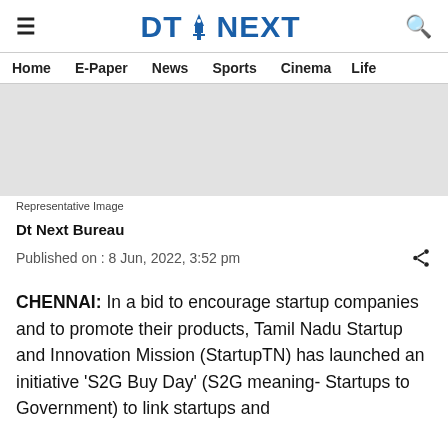DT NEXT
Home  E-Paper  News  Sports  Cinema  Life
[Figure (other): Grey placeholder image area (Representative Image)]
Representative Image
Dt Next Bureau
Published on : 8 Jun, 2022, 3:52 pm
CHENNAI: In a bid to encourage startup companies and to promote their products, Tamil Nadu Startup and Innovation Mission (StartupTN) has launched an initiative 'S2G Buy Day' (S2G meaning- Startups to Government) to link startups and